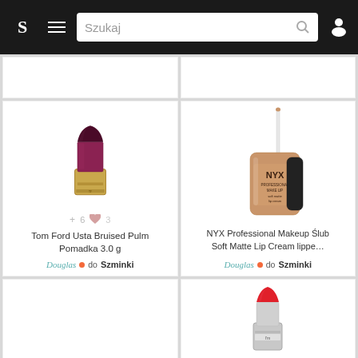S | ☰ | Szukaj | 🔍 | 👤
[Figure (photo): Tom Ford dark purple lipstick with gold case - partially cut off at top]
[Figure (photo): NYX Professional Makeup liquid lip cream bottle with applicator, nude/mauve color]
+6  ♥3
Tom Ford Usta Bruised Pulm Pomadka 3.0 g
Douglas • do Szminki
NYX Professional Makeup Ślub Soft Matte Lip Cream lippe...
Douglas • do Szminki
[Figure (photo): Red lipstick in silver/grey branded case - partially visible at bottom]